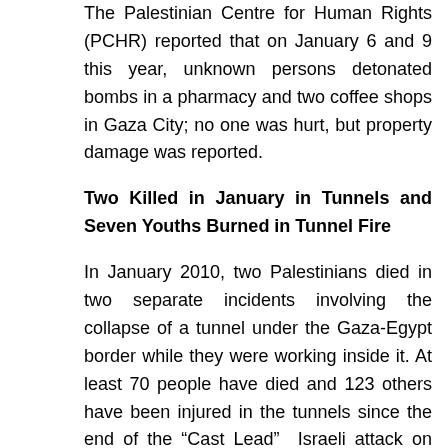The Palestinian Centre for Human Rights (PCHR) reported that on January 6 and 9 this year, unknown persons detonated bombs in a pharmacy and two coffee shops in Gaza City; no one was hurt, but property damage was reported.
Two Killed in January in Tunnels and Seven Youths Burned in Tunnel Fire
In January 2010, two Palestinians died in two separate incidents involving the collapse of a tunnel under the Gaza-Egypt border while they were working inside it. At least 70 people have died and 123 others have been injured in the tunnels since the end of the “Cast Lead” Israeli attack on Gaza.
On January 16 this year, seven Palestinians from Gaza were burned in a fire that broke out in one of the tunnels connecting the border towns of Rafah, Gaza and